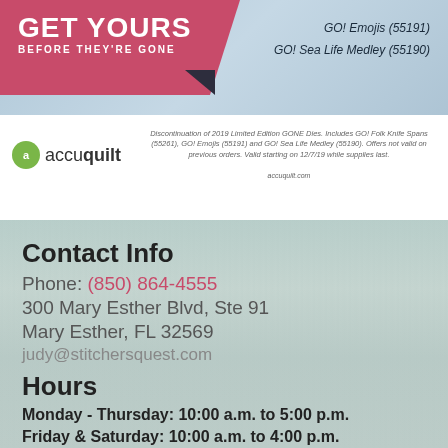[Figure (infographic): Promotional banner with pink/red parallelogram shape on blue-grey background. Text reads GET YOURS / BEFORE THEY'RE GONE on left. Right side lists GO! Emojis (55191) and GO! Sea Life Medley (55190).]
GO! Emojis (55191)
GO! Sea Life Medley (55190)
[Figure (logo): AccuQuilt logo with green circle containing 'a' and accuquilt wordmark]
Discontinuation of 2019 Limited Edition GONE Dies. Includes GO! Folk Knife Spans (55261), GO! Emojis (55191) and GO! Sea Life Medley (55190). Offers not valid on previous orders. Valid starting on 12/7/19 while supplies last.
Contact Info
Phone: (850) 864-4555
300 Mary Esther Blvd, Ste 91
Mary Esther, FL 32569
judy@stitchersquest.com
Hours
Monday - Thursday: 10:00 a.m. to 5:00 p.m.
Friday & Saturday: 10:00 a.m. to 4:00 p.m.
Check out our online selection for shipping and curbside